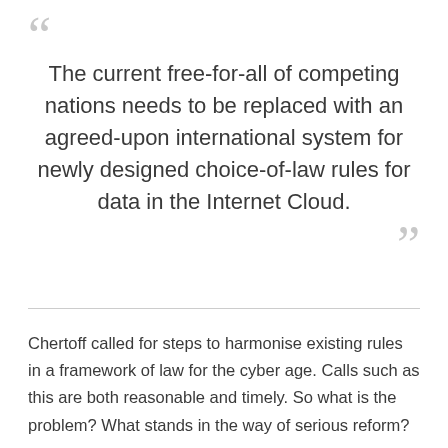The current free-for-all of competing nations needs to be replaced with an agreed-upon international system for newly designed choice-of-law rules for data in the Internet Cloud.
Chertoff called for steps to harmonise existing rules in a framework of law for the cyber age. Calls such as this are both reasonable and timely. So what is the problem? What stands in the way of serious reform?